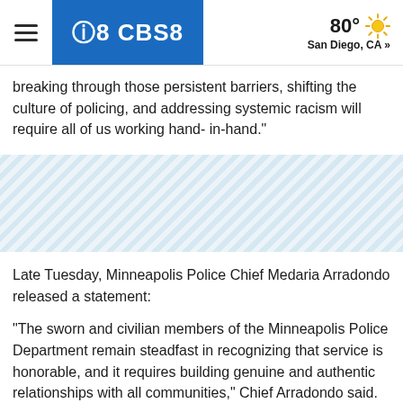CBS8 | 80° San Diego, CA »
breaking through those persistent barriers, shifting the culture of policing, and addressing systemic racism will require all of us working hand- in-hand."
[Figure (other): Advertisement or image placeholder with diagonal stripe pattern]
Late Tuesday, Minneapolis Police Chief Medaria Arradondo released a statement:

"The sworn and civilian members of the Minneapolis Police Department remain steadfast in recognizing that service is honorable, and it requires building genuine and authentic relationships with all communities," Chief Arradondo said. "The authority given to us by the community comes with